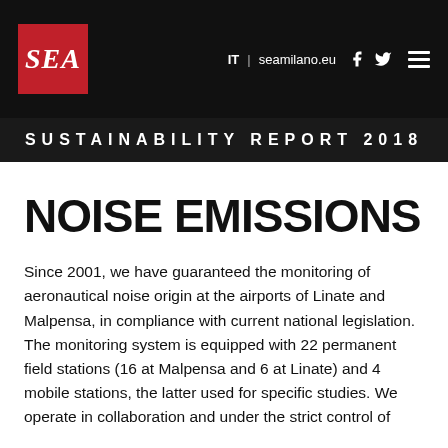SEA | IT | seamilano.eu | SUSTAINABILITY REPORT 2018
NOISE EMISSIONS
Since 2001, we have guaranteed the monitoring of aeronautical noise origin at the airports of Linate and Malpensa, in compliance with current national legislation. The monitoring system is equipped with 22 permanent field stations (16 at Malpensa and 6 at Linate) and 4 mobile stations, the latter used for specific studies. We operate in collaboration and under the strict control of